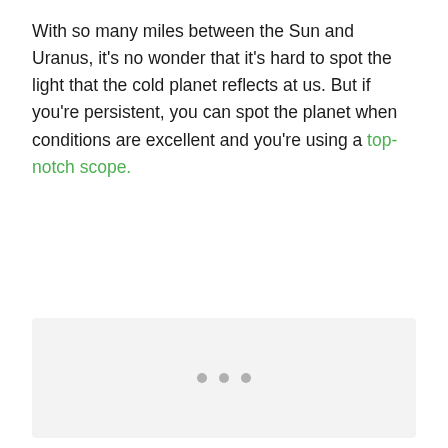With so many miles between the Sun and Uranus, it's no wonder that it's hard to spot the light that the cold planet reflects at us. But if you're persistent, you can spot the planet when conditions are excellent and you're using a top-notch scope.
[Figure (other): Loading placeholder with three grey dots on a light grey background]